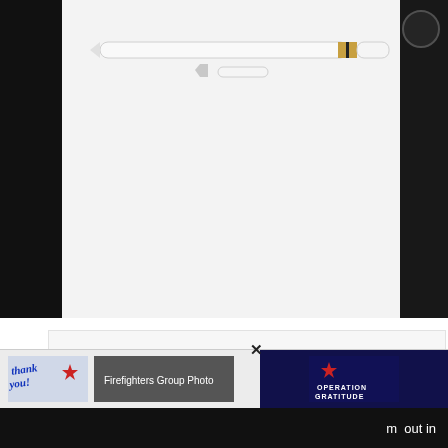[Figure (photo): Apple Pencil (white stylus with gold/black band) shown horizontally, with its cap removed and displayed separately below; shown against a white background flanked by black device bezels]
Contents [ show ]
u get two variants of the Apple Pencil, each mpatible with various generations of iPads. Both le Pencil models need to be charged before running out of power like all devices. Therefore, you need to know how to charge Apple Pencil and
[Figure (photo): Advertisement banner: Thank you note with Operation Gratitude branding on the right; firefighters group photo in center]